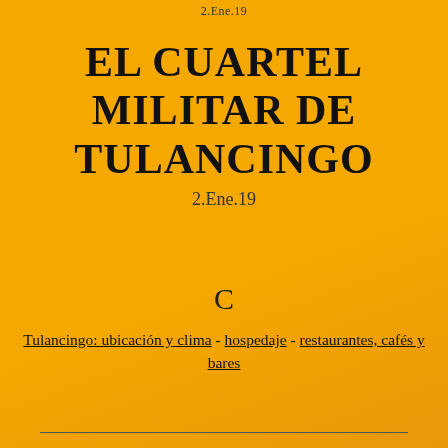2.Ene.19
EL CUARTEL MILITAR DE TULANCINGO
2.Ene.19
C
Tulancingo: ubicación y clima - hospedaje - restaurantes, cafés y bares